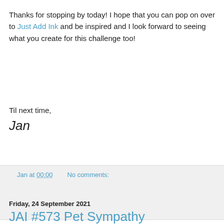Thanks for stopping by today! I hope that you can pop on over to Just Add Ink and be inspired and I look forward to seeing what you create for this challenge too!
Til next time,
Jan
Jan at 00:00    No comments:
Share
Friday, 24 September 2021
JAI #573 Pet Sympathy